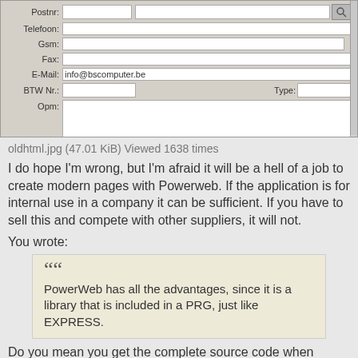[Figure (screenshot): A form screenshot showing fields: Postnr, Telefoon, Gsm, Fax, E-Mail (info@bscomputer.be), BTW Nr with Type selector, and Opm textarea]
oldhtml.jpg (47.01 KiB) Viewed 1638 times
I do hope I'm wrong, but I'm afraid it will be a hell of a job to create modern pages with Powerweb. If the application is for internal use in a company it can be sufficient. If you have to sell this and compete with other suppliers, it will not.
You wrote:
PowerWeb has all the advantages, since it is a library that is included in a PRG, just like EXPRESS.
Do you mean you get the complete source code when buying Powerweb?